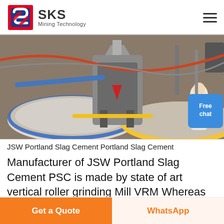[Figure (logo): SKS Mining Technology logo with red and blue stylized S icon]
[Figure (photo): Industrial mining/cement equipment - vertical roller grinding mill with colorful circular tables (blue, yellow) and white granular material, with a person in white lab coat on right side]
JSW Portland Slag Cement Portland Slag Cement
Manufacturer of JSW Portland Slag Cement PSC is made by state of art vertical roller grinding Mill VRM Whereas PSC is ideal cement in these works and thus
Get Price
Get a Quote
WhatsApp